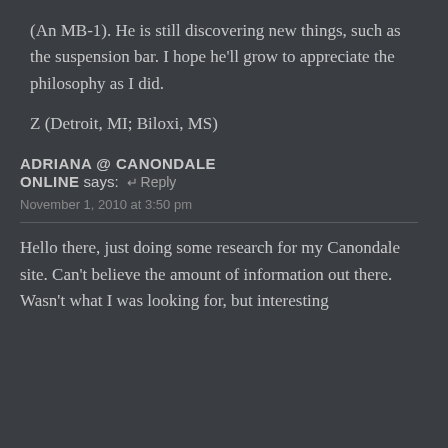(An MB-1). He is still discovering new things, such as the suspension bar. I hope he'll grow to appreciate the philosophy as I did.
Z (Detroit, MI; Biloxi, MS)
ADRIANA @ CANONDALE ONLINE says:
November 1, 2010 at 3:50 pm
Hello there, just doing some research for my Canondale site. Can't believe the amount of information out there. Wasn't what I was looking for, but interesting